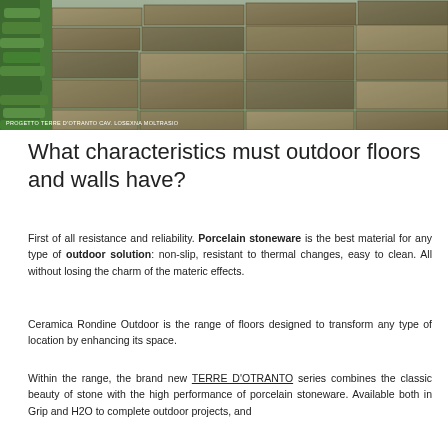[Figure (photo): Outdoor stone/porcelain tile floor with green hedges on the left edge, aerial/perspective view of paving pattern]
PROGETTO TERRE D'OTRANTO CAV. LOSEXNA MOLTRASIO
What characteristics must outdoor floors and walls have?
First of all resistance and reliability. Porcelain stoneware is the best material for any type of outdoor solution: non-slip, resistant to thermal changes, easy to clean. All without losing the charm of the materic effects.
Ceramica Rondine Outdoor is the range of floors designed to transform any type of location by enhancing its space.
Within the range, the brand new TERRE D'OTRANTO series combines the classic beauty of stone with the high performance of porcelain stoneware. Available both in Grip and H2O to complete outdoor projects, and